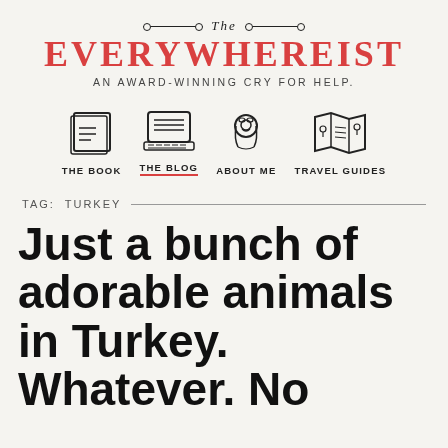The Everywhereist — An Award-Winning Cry for Help.
[Figure (illustration): Navigation icons: The Book (book illustration), The Blog (laptop illustration), About Me (woman portrait illustration), Travel Guides (open map illustration)]
TAG: TURKEY
Just a bunch of adorable animals in Turkey. Whatever. No